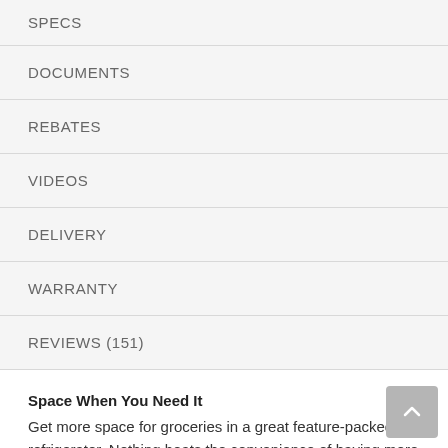SPECS
DOCUMENTS
REBATES
VIDEOS
DELIVERY
WARRANTY
REVIEWS (151)
Space When You Need It
Get more space for groceries in a great feature-packed refrigerator. Nothing beats the convenience of having more food when you need it, and with a generous 23 cu. ft. of space, you'll have room and room to grow.